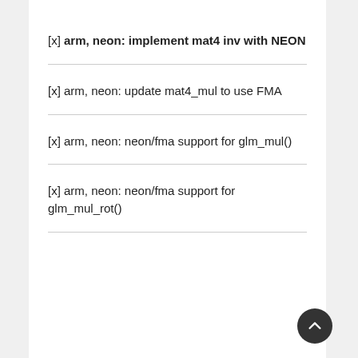[x] arm, neon: implement mat4 inv with NEON
[x] arm, neon: update mat4_mul to use FMA
[x] arm, neon: neon/fma support for glm_mul()
[x] arm, neon: neon/fma support for glm_mul_rot()